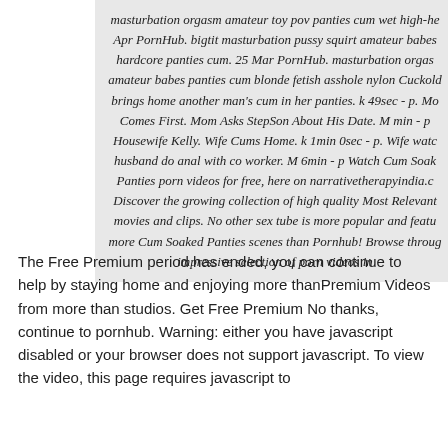[Figure (screenshot): A screenshot of a webpage showing italic text content, clipped on the right side, with a light gray background.]
The Free Premium period has ended, you can continue to help by staying home and enjoying more thanPremium Videos from more than studios. Get Free Premium No thanks, continue to pornhub. Warning: either you have javascript disabled or your browser does not support javascript. To view the video, this page requires javascript to